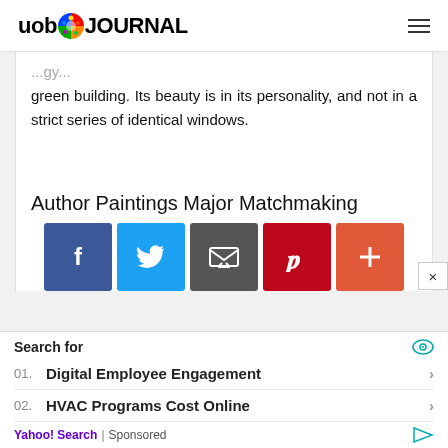uob JOURNAL
green building. Its beauty is in its personality, and not in a strict series of identical windows.
Author Paintings Major Matchmaking
[Figure (other): Social sharing buttons: Facebook, Twitter, Email, Pinterest, Plus]
Search for
01. Digital Employee Engagement
02. HVAC Programs Cost Online
Yahoo! Search | Sponsored